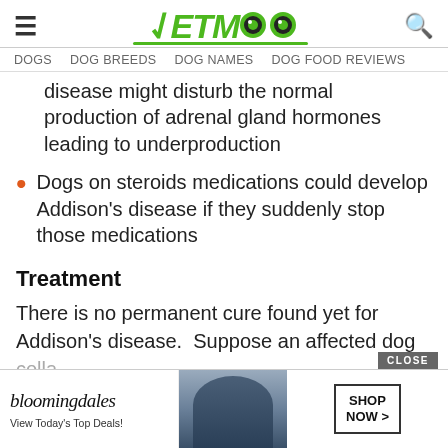PETMOO
DOGS  DOG BREEDS  DOG NAMES  DOG FOOD REVIEWS
disease might disturb the normal production of adrenal gland hormones leading to underproduction
Dogs on steroids medications could develop Addison's disease if they suddenly stop those medications
Treatment
There is no permanent cure found yet for Addison's disease.  Suppose an affected dog colla... hosp... be